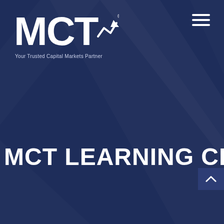[Figure (logo): MCT logo with registered trademark symbol and tagline 'Your Trusted Capital Markets Partner' on dark navy blue background]
MCT LEARNING CENTER